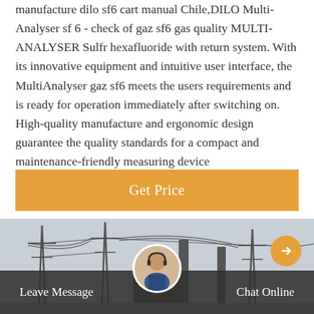manufacture dilo sf6 cart manual Chile,DILO Multi-Analyser sf 6 - check of gaz sf6 gas quality MULTI-ANALYSER Sulfr hexafluoride with return system. With its innovative equipment and intuitive user interface, the MultiAnalyser gaz sf6 meets the users requirements and is ready for operation immediately after switching on. High-quality manufacture and ergonomic design guarantee the quality standards for a compact and maintenance-friendly measuring device
[Figure (other): Button labeled 'Get Price' with orange background]
[Figure (photo): Industrial power substation with transmission towers, high-voltage lines and electrical equipment in grayscale]